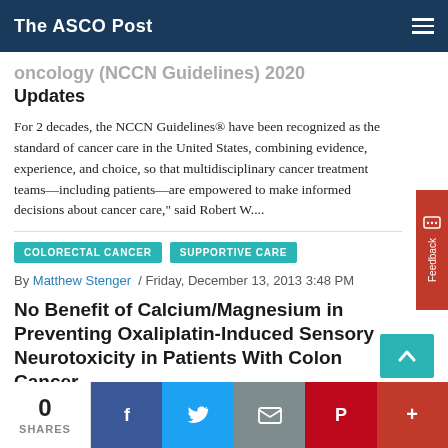The ASCO Post
Oncology (NCCN Guidelines) 2020 Updates
For 2 decades, the NCCN Guidelines® have been recognized as the standard of cancer care in the United States, combining evidence, experience, and choice, so that multidisciplinary cancer treatment teams—including patients—are empowered to make informed decisions about cancer care," said Robert W....
COLORECTAL CANCER
SUPPORTIVE CARE
By Matthew Stenger / Friday, December 13, 2013 3:48 PM
No Benefit of Calcium/Magnesium in Preventing Oxaliplatin-Induced Sensory Neurotoxicity in Patients With Colon Cancer
0 SHARES